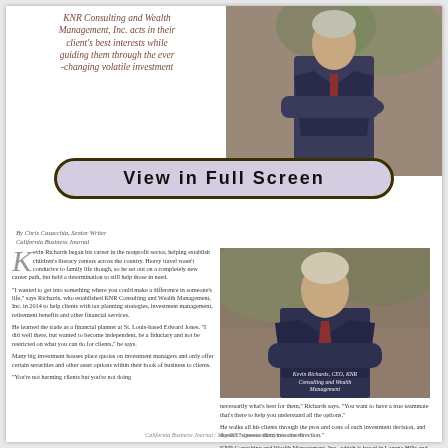KNR Consulting and Wealth Management, Inc. acts in their client's best interests while guiding them through the ever-changing volatile investment
[Figure (photo): Photo of Kevin Richards, CEO, KNR Consulting and Wealth Management, wearing a suit with arms crossed, outdoor background]
[Figure (other): View in Full Screen button overlay]
By Chris Casacchia, Senior Writer California Business Journal
Kevin Richards began his career in the nonprofit sector, helping establish children's literacy centers across the country. Heavy travel wasn't conducive to family life though, so he set out on a completely new career path, but held a determination to still help those in need.
"I wanted to get into something where you could make a difference in someone's life," says Richards, who established KNR Consulting and Wealth Management, Inc. in 2014 to help clients with tax planning strategies, investment management, retirement benefits and other financial services.
He learned the trade as a financial planner at St. Louis-based Edward Jones. "I did well there, but wanted to become independent, be a fiduciary and not be restricted on what you can do for clients," he says.
Many big investment houses place quotas on investment managers and only offer certain securities and other asset options within their book of business to clients.
"You're not harming clients but you're not doing
[Figure (photo): Photo of Kevin Richards CEO of KNR Consulting and Wealth Management with caption]
Kevin Richards, CEO, KNR Consulting and Wealth Management
necessarily what's best for them," Richards says. "You want to have a true teammate that's there to help you understand all the options."
He walks all his clients through the pros and cons of each investment decision, and doesn't "squeeze them into one direction."
KNR Consulting and Wealth Management, Inc., which is based in Laguna Hills and has another nearby office in Garden Grove, has clients, primarily in Orange County. Most are retirees or near retirement.
"They know we're here to look after their best interests and guide them through ever changing investment options," Richards says.
California Business Journal / May 2021 / www.calbizjournal.com